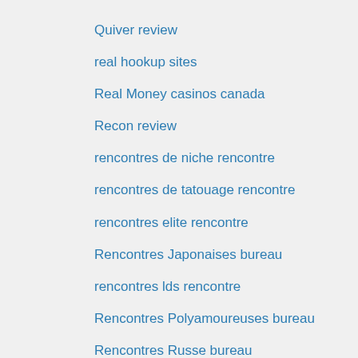Quiver review
real hookup sites
Real Money casinos canada
Recon review
rencontres de niche rencontre
rencontres de tatouage rencontre
rencontres elite rencontre
Rencontres Japonaises bureau
rencontres lds rencontre
Rencontres Polyamoureuses bureau
Rencontres Russe bureau
rencontres sans gluten rencontre
rencontres sapiosexuelles rencontre
review
reviews